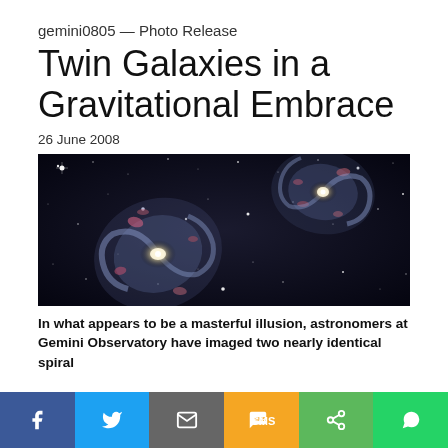gemini0805 — Photo Release
Twin Galaxies in a Gravitational Embrace
26 June 2008
[Figure (photo): Astronomical image of two nearly identical spiral galaxies in close proximity against a dark starfield background, showing pink star-forming regions and spiral arms.]
In what appears to be a masterful illusion, astronomers at Gemini Observatory have imaged two nearly identical spiral